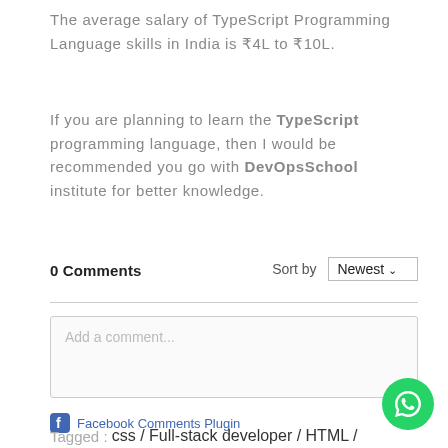The average salary of TypeScript Programming Language skills in India is ₹4L to ₹10L.
If you are planning to learn the TypeScript programming language, then I would be recommended you go with DevOpsSchool institute for better knowledge.
0 Comments
Sort by Newest
Add a comment...
Facebook Comments Plugin
Tagged : css / Full-stack developer / HTML /